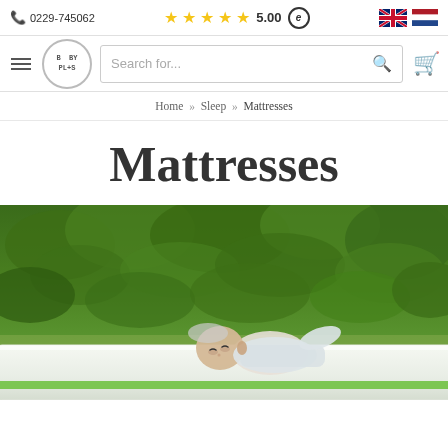0229-745062  ★★★★★ 5.00  [e]  [UK flag] [NL flag]
[Figure (screenshot): Navigation bar with hamburger menu, BabyPlus logo, search box, and cart icon]
Home » Sleep » Mattresses
Mattresses
[Figure (photo): A sleeping baby lying on a white mattress with a green stripe, outdoors with green leafy bushes in the background]